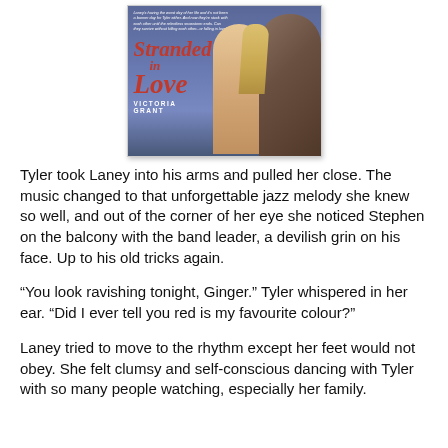[Figure (illustration): Book cover for 'Stranded in Love' by Victoria Grant, showing a man and woman facing each other on a purple/blue background with red cursive title text.]
Tyler took Laney into his arms and pulled her close. The music changed to that unforgettable jazz melody she knew so well, and out of the corner of her eye she noticed Stephen on the balcony with the band leader, a devilish grin on his face. Up to his old tricks again.
“You look ravishing tonight, Ginger.” Tyler whispered in her ear. “Did I ever tell you red is my favourite colour?”
Laney tried to move to the rhythm except her feet would not obey. She felt clumsy and self-conscious dancing with Tyler with so many people watching, especially her family.